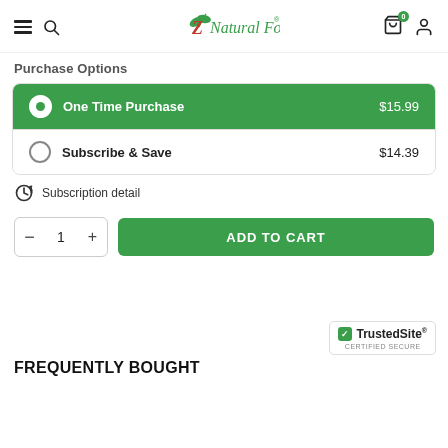Z Natural Foods
Purchase Options
One Time Purchase $15.99
Subscribe & Save $14.39
Subscription detail
- 1 + ADD TO CART
[Figure (logo): TrustedSite Certified Secure badge]
FREQUENTLY BOUGHT